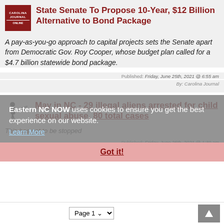State Senate To Propose 10-Year, $12 Billion Alternative to Bond Package
A pay-as-you-go approach to capital projects sets the Senate apart from Democratic Gov. Roy Cooper, whose budget plan called for a $4.7 billion statewide bond package.
Published: Friday, June 25th, 2021 @ 6:55 am
By: Carolina Journal
May in NC - 29 illegal aliens arrested for child sexual abuse, 80 total cases
This has got to be stopped
Published: Friday, June 25th, 2021 @ 1:39 am
By: Beaufort Observer Editorial Team
Eastern NC NOW uses cookies to ensure you get the best experience on our website. Learn More
Got it!